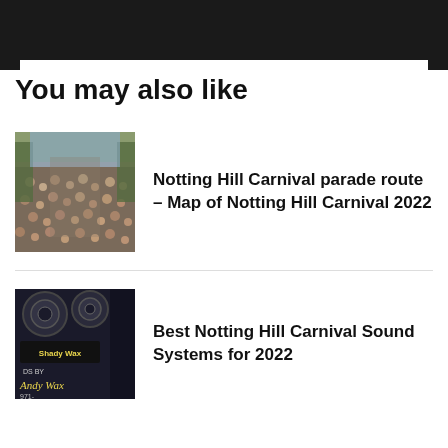You may also like
[Figure (photo): Large crowd of people at a street carnival event, aerial view looking down a busy street lined with trees]
Notting Hill Carnival parade route – Map of Notting Hill Carnival 2022
[Figure (photo): Close-up of a sound system speaker setup at night with 'Shady Way' branding visible and text 'DS BY Andy Wax']
Best Notting Hill Carnival Sound Systems for 2022